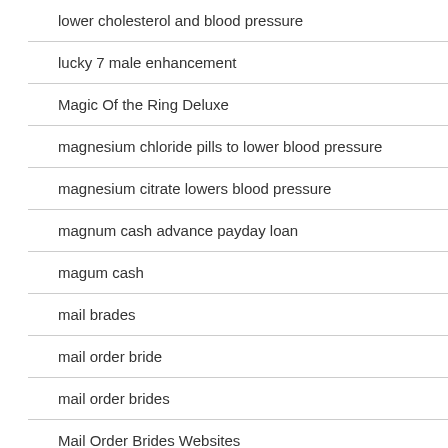lower cholesterol and blood pressure
lucky 7 male enhancement
Magic Of the Ring Deluxe
magnesium chloride pills to lower blood pressure
magnesium citrate lowers blood pressure
magnum cash advance payday loan
magum cash
mail brades
mail order bride
mail order brides
Mail Order Brides Websites